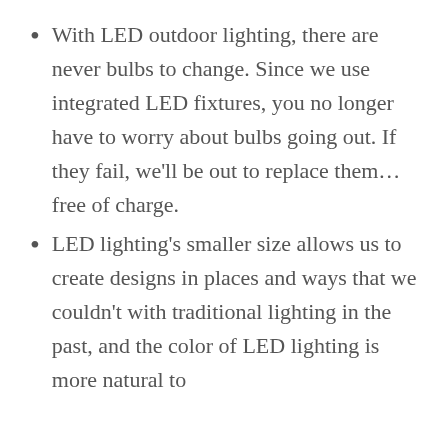With LED outdoor lighting, there are never bulbs to change. Since we use integrated LED fixtures, you no longer have to worry about bulbs going out. If they fail, we'll be out to replace them…free of charge.
LED lighting's smaller size allows us to create designs in places and ways that we couldn't with traditional lighting in the past, and the color of LED lighting is more natural to